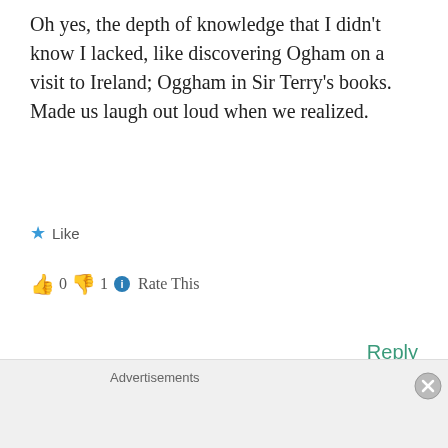Oh yes, the depth of knowledge that I didn't know I lacked, like discovering Ogham on a visit to Ireland; Oggham in Sir Terry's books. Made us laugh out loud when we realized.
★ Like
👍 0 👎 1 ℹ Rate This
Reply
David Dylan
September 1, 2015 at 2:09 pm
Advertisements